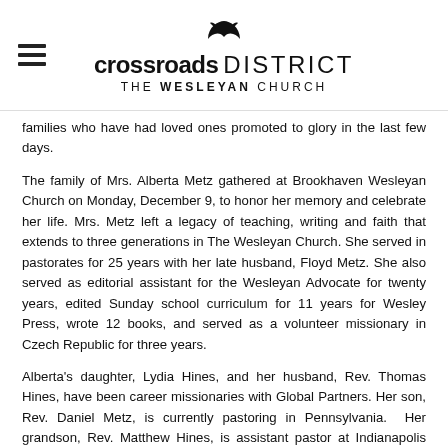crossroads DISTRICT THE Wesleyan CHURCH
families who have had loved ones promoted to glory in the last few days.
The family of Mrs. Alberta Metz gathered at Brookhaven Wesleyan Church on Monday, December 9, to honor her memory and celebrate her life. Mrs. Metz left a legacy of teaching, writing and faith that extends to three generations in The Wesleyan Church. She served in pastorates for 25 years with her late husband, Floyd Metz. She also served as editorial assistant for the Wesleyan Advocate for twenty years, edited Sunday school curriculum for 11 years for Wesley Press, wrote 12 books, and served as a volunteer missionary in Czech Republic for three years.
Alberta's daughter, Lydia Hines, and her husband, Rev. Thomas Hines, have been career missionaries with Global Partners. Her son, Rev. Daniel Metz, is currently pastoring in Pennsylvania. Her grandson, Rev. Matthew Hines, is assistant pastor at Indianapolis Trinity; her grandson, Rev. David Hines, and his wife Rev. Emily Hines, are assistant pastors at Marion Brookhaven; and her grandson, Nathan Metz, is a missionary with WGM. Mrs. Metz requested that any memorials be directed to missionary work through Wesleyan Global Partners.